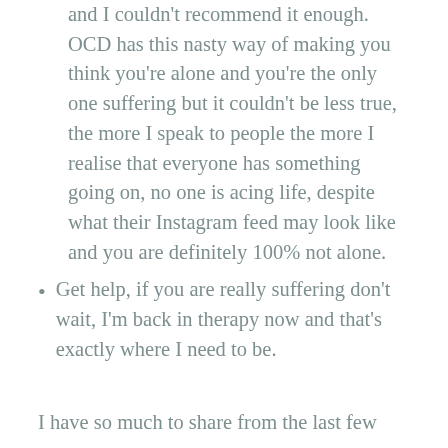and I couldn't recommend it enough. OCD has this nasty way of making you think you're alone and you're the only one suffering but it couldn't be less true, the more I speak to people the more I realise that everyone has something going on, no one is acing life, despite what their Instagram feed may look like and you are definitely 100% not alone.
Get help, if you are really suffering don't wait, I'm back in therapy now and that's exactly where I need to be.
I have so much to share from the last few